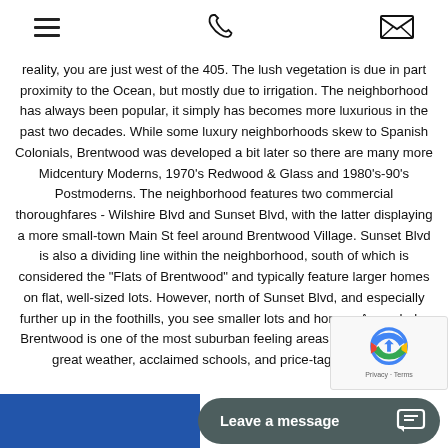[hamburger menu] [phone icon] [email icon]
reality, you are just west of the 405. The lush vegetation is due in part proximity to the Ocean, but mostly due to irrigation. The neighborhood has always been popular, it simply has becomes more luxurious in the past two decades. While some luxury neighborhoods skew to Spanish Colonials, Brentwood was developed a bit later so there are many more Midcentury Moderns, 1970's Redwood & Glass and 1980's-90's Postmoderns. The neighborhood features two commercial thoroughfares - Wilshire Blvd and Sunset Blvd, with the latter displaying a more small-town Main St feel around Brentwood Village. Sunset Blvd is also a dividing line within the neighborhood, south of which is considered the "Flats of Brentwood" and typically feature larger homes on flat, well-sized lots. However, north of Sunset Blvd, and especially further up in the foothills, you see smaller lots and homes. As a whole, Brentwood is one of the most suburban feeling areas of the city. It has great weather, acclaimed schools, and price-tags to match.
[Figure (other): reCAPTCHA logo overlay with Privacy and Terms links]
Leave a message